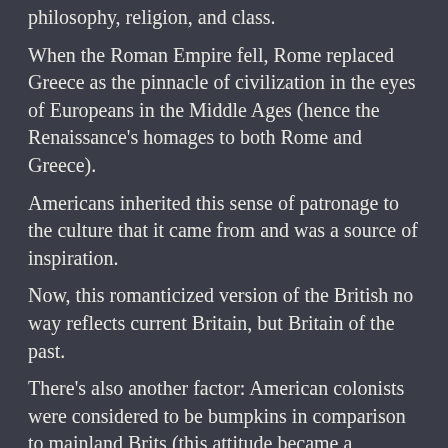philosophy, religion, and class.
When the Roman Empire fell, Rome replaced Greece as the pinnacle of civilization in the eyes of Europeans in the Middle Ages (hence the Renaissance's homages to both Rome and Greece).
Americans inherited this sense of patronage to the culture that it came from and was a source of inspiration.
Now, this romanticized version of the British no way reflects current Britain, but Britain of the past.
There's also another factor: American colonists were considered to be bumpkins in comparison to mainland Brits (this attitude became a subliminal factor that led to the American Revolution).
In comparison, it's similar to how the French viewed French Canadians in the late 18th century.
It'd be interesting if there was a psychological study that pointed towards a residual sense in Americans that recognizes the parent culture and the desire to surpass it as the drive to, in turn, be recognized by the